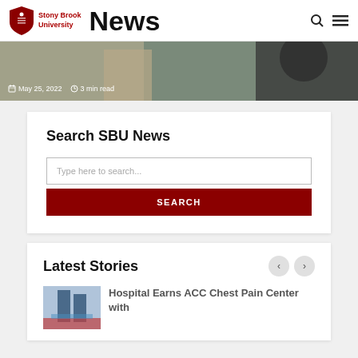Stony Brook University News
[Figure (photo): Hero image strip showing people in a room, with date May 25, 2022 and 3 min read overlay]
May 25, 2022   3 min read
Search SBU News
Type here to search...
SEARCH
Latest Stories
Hospital Earns ACC Chest Pain Center with